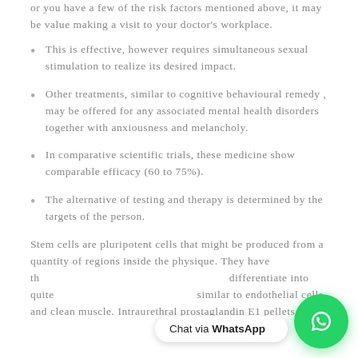or you have a few of the risk factors mentioned above, it may be value making a visit to your doctor's workplace.
This is effective, however requires simultaneous sexual stimulation to realize its desired impact.
Other treatments, similar to cognitive behavioural remedy , may be offered for any associated mental health disorders together with anxiousness and melancholy.
In comparative scientific trials, these medicine show comparable efficacy (60 to 75%).
The alternative of testing and therapy is determined by the targets of the person.
Stem cells are pluripotent cells that might be produced from a quantity of regions inside the physique. They have th... differentiate into quite ... similar to endothelial cells and clean muscle. Intraurethral prostaglandin E1 pellets are